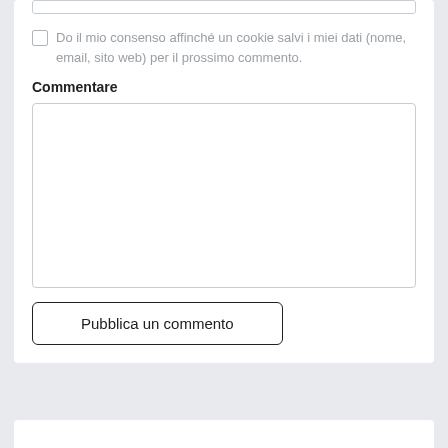Do il mio consenso affinché un cookie salvi i miei dati (nome, email, sito web) per il prossimo commento.
Commentare
Pubblica un commento